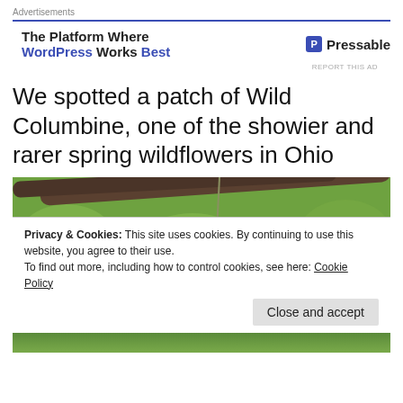Advertisements
[Figure (other): Pressable advertisement banner: 'The Platform Where WordPress Works Best' with Pressable logo]
We spotted a patch of Wild Columbine, one of the showier and rarer spring wildflowers in Ohio
[Figure (photo): Close-up photograph of Wild Columbine flowers (Aquilegia canadensis) with red tubular blooms against a green blurred background with a dark branch overhead]
Privacy & Cookies: This site uses cookies. By continuing to use this website, you agree to their use.
To find out more, including how to control cookies, see here: Cookie Policy